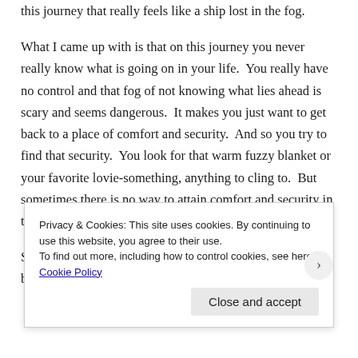this journey that really feels like a ship lost in the fog.
What I came up with is that on this journey you never really know what is going on in your life.  You really have no control and that fog of not knowing what lies ahead is scary and seems dangerous.  It makes you just want to get back to a place of comfort and security.  And so you try to find that security.  You look for that warm fuzzy blanket or your favorite lovie-something, anything to cling to.  But sometimes there is no way to attain comfort and security in this world.
Sometimes you have nothing to turn to and nowhere to go but through.
Privacy & Cookies: This site uses cookies. By continuing to use this website, you agree to their use.
To find out more, including how to control cookies, see here: Cookie Policy